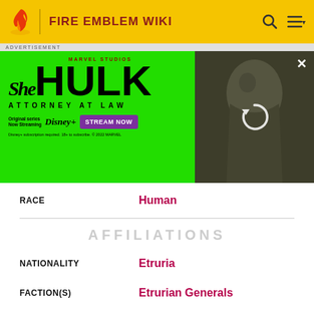FIRE EMBLEM WIKI
[Figure (infographic): She-Hulk Attorney at Law advertisement on green background with character photo and Disney+ Stream Now button]
| RACE | Human |
| NATIONALITY | Etruria |
| FACTION(S) | Etrurian Generals |
AFFILIATIONS